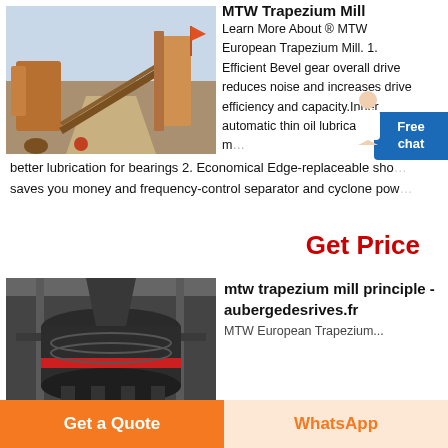[Figure (photo): Outdoor industrial mining/crushing plant with conveyor belts, machinery, and a pile of aggregate material under a hazy sky.]
MTW Trapezium Mill
Learn More About ® MTW European Trapezium Mill. 1. Efficient Bevel gear overall drive reduces noise and increases drive efficiency and capacity.Inner automatic thin oil lubricating system makes better lubrication for bearings 2. Economical Edge-replaceableショ saves you money and frequency-control separator and cyclone powder ...
Get Price
[Figure (photo): Indoor industrial mill machine (MTW Trapezium Mill) — large dark cylindrical machinery with red band detail, in a factory/warehouse setting.]
mtw trapezium mill principle - aubergedesrives.fr
MTW European Trapezium...
Get a Quote
WhatsApp